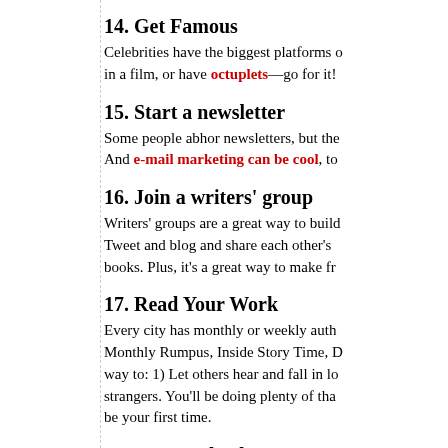14. Get Famous
Celebrities have the biggest platforms o… in a film, or have octuplets—go for it!
15. Start a newsletter
Some people abhor newsletters, but the… And e-mail marketing can be cool, to…
16. Join a writers' group
Writers' groups are a great way to build… Tweet and blog and share each other's… books. Plus, it's a great way to make fr…
17. Read Your Work
Every city has monthly or weekly auth… Monthly Rumpus, Inside Story Time, D… way to: 1) Let others hear and fall in lo… strangers. You'll be doing plenty of tha… be your first time.
18. Get Involved
Run for the school board. Volunteer. G…